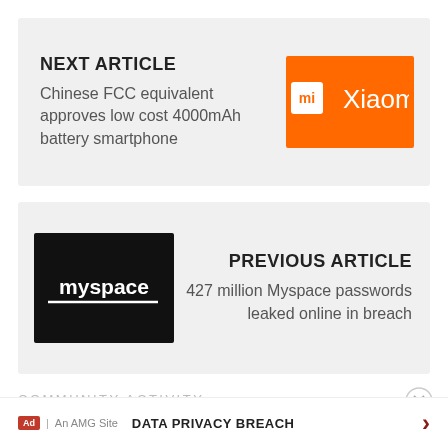NEXT ARTICLE
Chinese FCC equivalent approves low cost 4000mAh battery smartphone
[Figure (logo): Xiaomi logo: orange rectangle with white 'mi' square icon and 'Xiaomi' text]
[Figure (logo): Myspace logo: black rectangle with white 'myspace' text and underline]
PREVIOUS ARTICLE
427 million Myspace passwords leaked online in breach
COMMUNITY ACTIVITY
DATA PRIVACY BREACH
Ad | An AMG Site